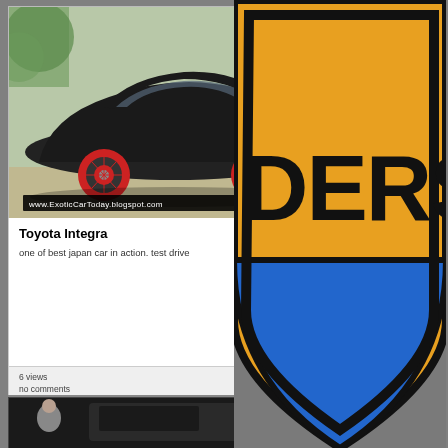[Figure (screenshot): Black car (Toyota Integra) with red wheels on pavement, with URL bar showing www.ExoticCarToday.blogspot.com]
Toyota Integra
one of best japan car in action. test drive
6 views
no comments
[Figure (screenshot): Two people near a dark SUV/van, bottom of screen]
[Figure (logo): Partial shield/badge logo with orange and blue sections and text DERS visible]